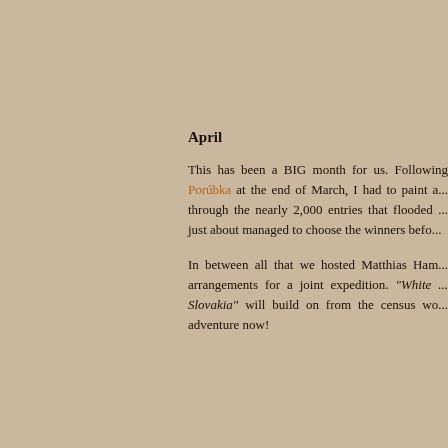April
This has been a BIG month for us. Following Porúbka at the end of March, I had to paint a... through the nearly 2,000 entries that flooded ... just about managed to choose the winners befo...
In between all that we hosted Matthias Ham... arrangements for a joint expedition. "White ... Slovakia" will build on from the census wo... adventure now!